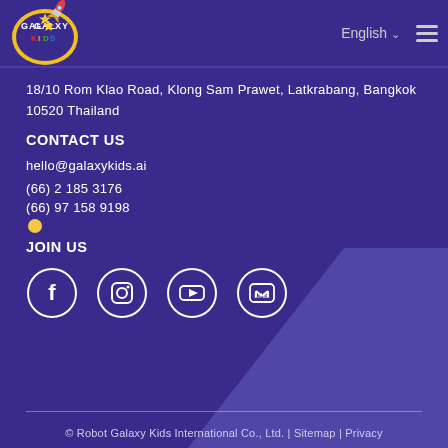[Figure (logo): Galaxy Kids logo with star and rocket, colorful text]
English
18/10 Rom Klao Road, Klong Sam Prawet, Latkrabang, Bangkok 10520 Thailand
CONTACT US
hello@galaxykids.ai
(66) 2 185 3176
(66) 97 158 9198
JOIN US
[Figure (illustration): Social media icons: Facebook, Instagram, YouTube, LINE in white circle outlines]
© Robot Galaxy Kids International Co., Ltd. | Sitemap | Privacy